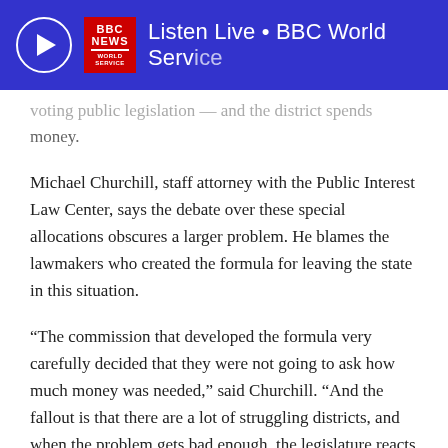Listen Live • BBC World Service
…voting public legislation — and the district spends money.
Michael Churchill, staff attorney with the Public Interest Law Center, says the debate over these special allocations obscures a larger problem. He blames the lawmakers who created the formula for leaving the state in this situation.
“The commission that developed the formula very carefully decided that they were not going to ask how much money was needed,” said Churchill. “And the fallout is that there are a lot of struggling districts, and when the problem gets bad enough, the legislature reacts in a political fashion, and helps those who can cry the loudest.”